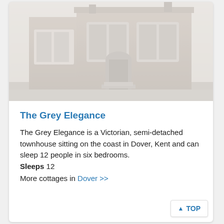[Figure (photo): Exterior photo of The Grey Elegance, a Victorian semi-detached townhouse with bay windows and arched doorway, faded/washed out appearance]
The Grey Elegance
The Grey Elegance is a Victorian, semi-detached townhouse sitting on the coast in Dover, Kent and can sleep 12 people in six bedrooms.
Sleeps 12
More cottages in Dover >>